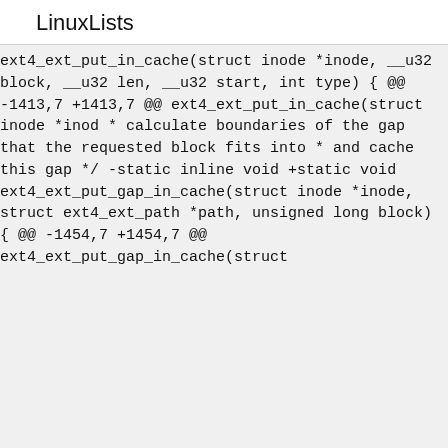LinuxLists
ext4_ext_put_in_cache(struct inode *inode, __u32 block,
__u32 len, __u32 start, int type)
{
@@ -1413,7 +1413,7 @@ ext4_ext_put_in_cache(struct inode
*inod
* calculate boundaries of the gap that the requested block fits
into
* and cache this gap
*/
-static inline void
+static void
ext4_ext_put_gap_in_cache(struct inode *inode, struct
ext4_ext_path *path,
unsigned long block)
{
@@ -1454,7 +1454,7 @@ ext4_ext_put_gap_in_cache(struct